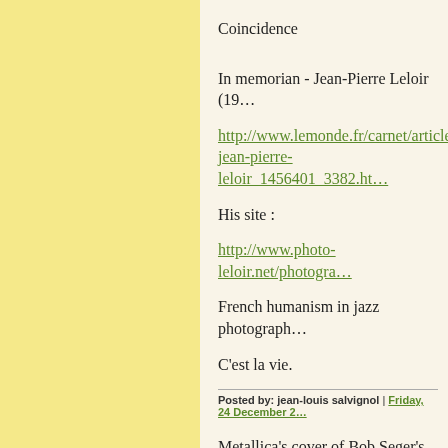Coincidence
In memorian - Jean-Pierre Leloir (19…
http://www.lemonde.fr/carnet/article… jean-pierre-leloir_1456401_3382.ht…
His site :
http://www.photo-leloir.net/photogra…
French humanism in jazz photograph…
C'est la vie.
Posted by: jean-louis salvignol | Friday, 24 December 2…
Metallica's cover of Bob Seger's "Tu…
Willie Nelson, "Georgia on My Min…
Cross Canadian Ragweed's cover of… and Roll"